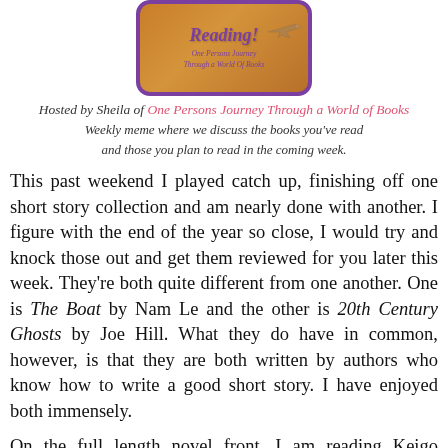[Figure (logo): Book blog logo showing 'Reading! One Persons Journey Through a World Of Books' in purple italic text on a brown/tan background with purple border, with a small airplane graphic]
Hosted by Sheila of One Persons Journey Through a World of Books
Weekly meme where we discuss the books you've read and those you plan to read in the coming week.
This past weekend I played catch up, finishing off one short story collection and am nearly done with another. I figure with the end of the year so close, I would try and knock those out and get them reviewed for you later this week. They're both quite different from one another. One is The Boat by Nam Le and the other is 20th Century Ghosts by Joe Hill. What they do have in common, however, is that they are both written by authors who know how to write a good short story. I have enjoyed both immensely.
On the full length novel front, I am reading Keigo Higashino's The Devotion of Suspect X. I enjoy reading crime fiction set in other countries and so jumped at the chance to read